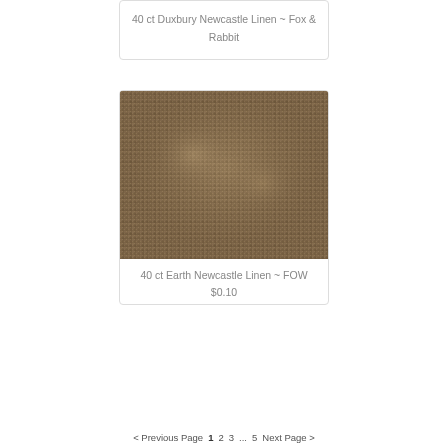40 ct Duxbury Newcastle Linen ~ Fox & Rabbit
[Figure (photo): Close-up photograph of brown/earth-toned woven linen fabric with a tight grid-like weave pattern, showing texture variations across the surface.]
40 ct Earth Newcastle Linen ~ FOW
$0.10
< Previous Page   1   2   3   ...   5   Next Page >